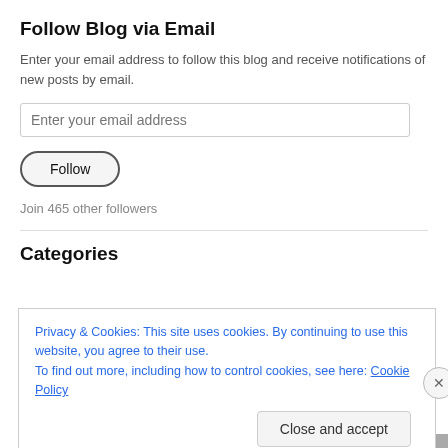Follow Blog via Email
Enter your email address to follow this blog and receive notifications of new posts by email.
[Figure (other): Email input field with placeholder text 'Enter your email address']
[Figure (other): Follow button with rounded pill shape]
Join 465 other followers
Categories
Privacy & Cookies: This site uses cookies. By continuing to use this website, you agree to their use.
To find out more, including how to control cookies, see here: Cookie Policy
[Figure (other): Close and accept button for cookie banner]